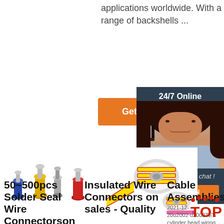applications worldwide. With a range of backshells ...
Get Price
24/7 Online
Click here for free chat !
QUOTATION
[Figure (photo): Insulated solder seal wire connectors in blue, yellow, and red colors]
[Figure (photo): Roll of yellow wire label tape with red borders]
50~500pcs Solder Seal Wire Connectorson Heat
Insulated Wire Connectors on sales - Quality
Cable Assemblies
2021-12-20u2002·u2002TE's cylinder head wiring products